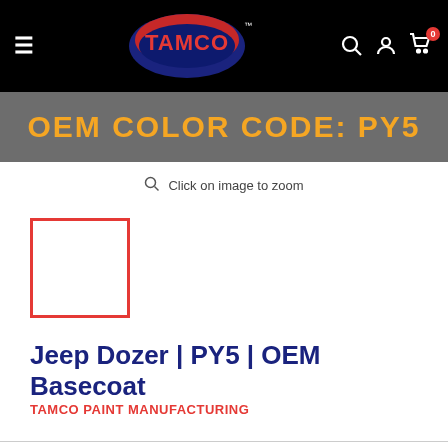[Figure (screenshot): Tamco Paint Manufacturing website navigation bar with hamburger menu, Tamco logo, search icon, account icon, and cart icon with badge showing 0]
[Figure (screenshot): Gray banner showing OEM COLOR CODE: PY5 in bold orange/gold text]
Click on image to zoom
[Figure (photo): Small product thumbnail image with red border outline, white interior]
Jeep Dozer | PY5 | OEM Basecoat
TAMCO PAINT MANUFACTURING